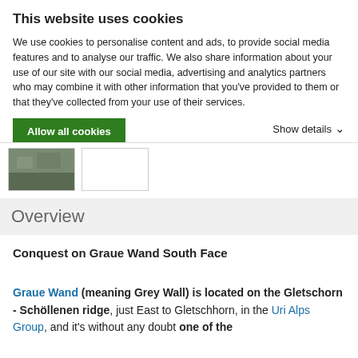This website uses cookies
We use cookies to personalise content and ads, to provide social media features and to analyse our traffic. We also share information about your use of our site with our social media, advertising and analytics partners who may combine it with other information that you've provided to them or that they've collected from your use of their services.
Allow all cookies
Show details
[Figure (photo): Thumbnail images of mountain/rock content]
Overview
Conquest on Graue Wand South Face
Graue Wand (meaning Grey Wall) is located on the Gletschorn - Schöllenen ridge, just East to Gletschhorn, in the Uri Alps Group, and it's without any doubt one of the